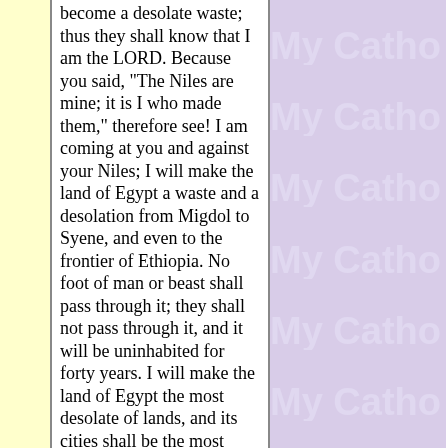become a desolate waste; thus they shall know that I am the LORD. Because you said, "The Niles are mine; it is I who made them," therefore see! I am coming at you and against your Niles; I will make the land of Egypt a waste and a desolation from Migdol to Syene, and even to the frontier of Ethiopia. No foot of man or beast shall pass through it; they shall not pass through it, and it will be uninhabited for forty years. I will make the land of Egypt the most desolate of lands, and its cities shall be the most deserted of cities for forty years; and I will scatter the Egyptians among the nations and strew them over foreign lands. [EZEK
[Figure (other): Repeating 'My Catho' watermark text in light purple/lavender color on purple background, appearing 6 times vertically]